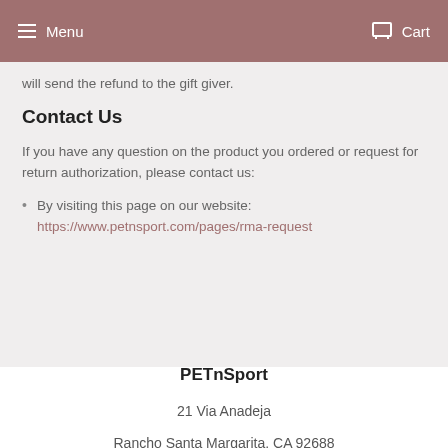Menu  Cart
will send the refund to the gift giver.
Contact Us
If you have any question on the product you ordered or request for return authorization, please contact us:
By visiting this page on our website:
https://www.petnsport.com/pages/rma-request
PETnSport
21 Via Anadeja
Rancho Santa Margarita, CA 92688